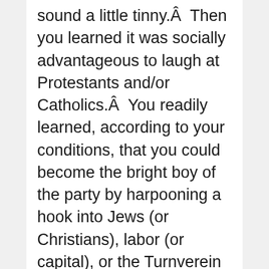sound a little tinny.Â  Then you learned it was socially advantageous to laugh at Protestants and/or Catholics.Â  You readily learned, according to your conditions, that you could become the bright boy of the party by harpooning a hook into Jews (or Christians), labor (or capital), or the Turnverein or the Strawberry Festival.

You still laughed for fun, but the fun was getting hemmed in by a world